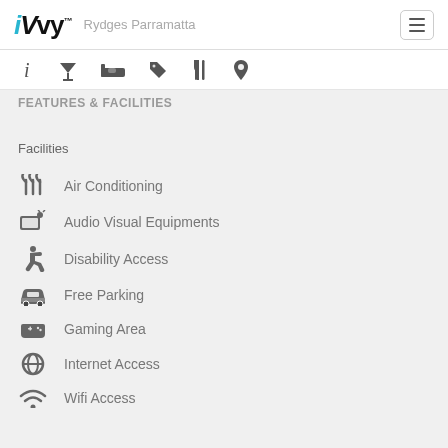iVvy  Rydges Parramatta
[Figure (infographic): Navigation icon bar with info, cocktail, bed, tag, cutlery, and location pin icons]
FEATURES & FACILITIES (partially visible)
Facilities
Air Conditioning
Audio Visual Equipments
Disability Access
Free Parking
Gaming Area
Internet Access
Wifi Access